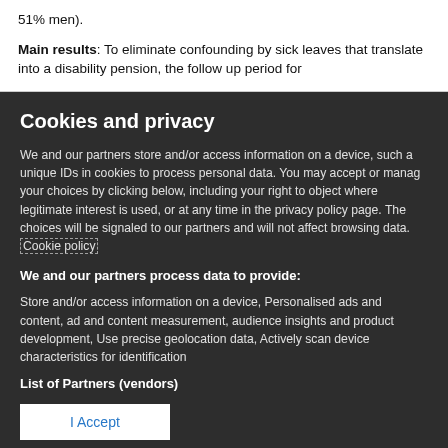51% men).
Main results: To eliminate confounding by sick leaves that translate into a disability pension, the follow up period for
Cookies and privacy
We and our partners store and/or access information on a device, such as unique IDs in cookies to process personal data. You may accept or manage your choices by clicking below, including your right to object where legitimate interest is used, or at any time in the privacy policy page. These choices will be signaled to our partners and will not affect browsing data. Cookie policy
We and our partners process data to provide:
Store and/or access information on a device, Personalised ads and content, ad and content measurement, audience insights and product development, Use precise geolocation data, Actively scan device characteristics for identification
List of Partners (vendors)
I Accept